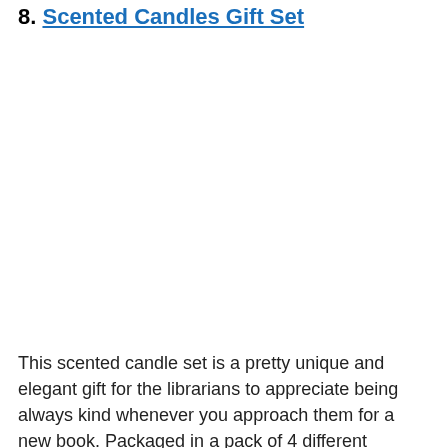8. Scented Candles Gift Set
This scented candle set is a pretty unique and elegant gift for the librarians to appreciate being always kind whenever you approach them for a new book. Packaged in a pack of 4 different flavored candles.